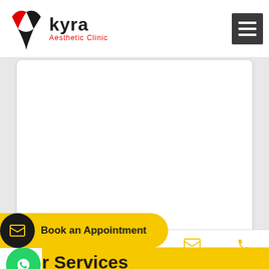[Figure (logo): Kyra Aesthetic Clinic logo with bird icon]
[Figure (screenshot): Hamburger menu icon (three horizontal lines) on dark background]
[Figure (screenshot): White content card area (empty visible region)]
Our Services
[Figure (infographic): WhatsApp green circle button icon]
HAIR TRANSPLANT
[Figure (infographic): Yellow Book an Appointment button with email envelope icon]
Book an Appointment
COSMETIC SURGERY
[Figure (infographic): Yellow circle back-to-top chevron button]
Home   About Us   Our Range   Contact   Call Us